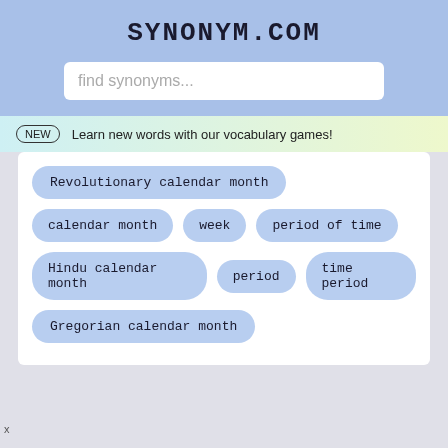SYNONYM.COM
find synonyms...
NEW  Learn new words with our vocabulary games!
Revolutionary calendar month
calendar month
week
period of time
Hindu calendar month
period
time period
Gregorian calendar month